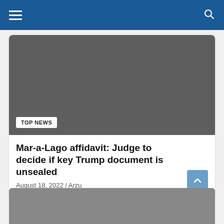Navigation header with hamburger menu and search icon
[Figure (photo): Dark gray placeholder image for news article with TOP NEWS badge overlay]
TOP NEWS
Mar-a-Lago affidavit: Judge to decide if key Trump document is unsealed
August 18, 2022 / Arzu
[Figure (photo): Partially visible second article image at the bottom of the page]